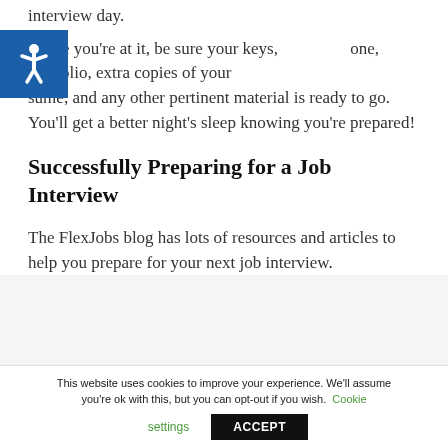interview day.
While you’re at it, be sure your keys, one, portfolio, extra copies of your sume, and any other pertinent material is ready to go. You’ll get a better night’s sleep knowing you’re prepared!
Successfully Preparing for a Job Interview
The FlexJobs blog has lots of resources and articles to help you prepare for your next job interview. If you’re a FlexJobs member, be d…
This website uses cookies to improve your experience. We’ll assume you’re ok with this, but you can opt-out if you wish. Cookie settings ACCEPT